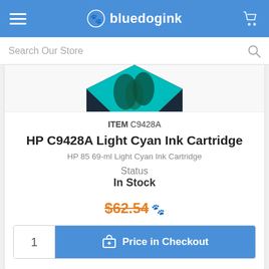bluedogink
Search Our Store
[Figure (photo): Partial product image of HP C9428A Light Cyan Ink Cartridge showing teal/cyan colored top portion]
ITEM C9428A
HP C9428A Light Cyan Ink Cartridge
HP 85 69-ml Light Cyan Ink Cartridge
Status
In Stock
$62.54
1  Price in Checkout